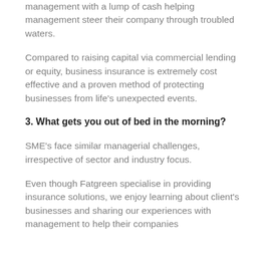management with a lump of cash helping management steer their company through troubled waters.
Compared to raising capital via commercial lending or equity, business insurance is extremely cost effective and a proven method of protecting businesses from life's unexpected events.
3. What gets you out of bed in the morning?
SME's face similar managerial challenges, irrespective of sector and industry focus.
Even though Fatgreen specialise in providing insurance solutions, we enjoy learning about client's businesses and sharing our experiences with management to help their companies